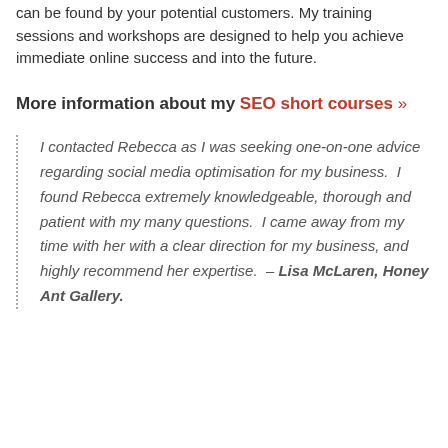can be found by your potential customers. My training sessions and workshops are designed to help you achieve immediate online success and into the future.
More information about my SEO short courses »
I contacted Rebecca as I was seeking one-on-one advice regarding social media optimisation for my business. I found Rebecca extremely knowledgeable, thorough and patient with my many questions. I came away from my time with her with a clear direction for my business, and highly recommend her expertise. – Lisa McLaren, Honey Ant Gallery.